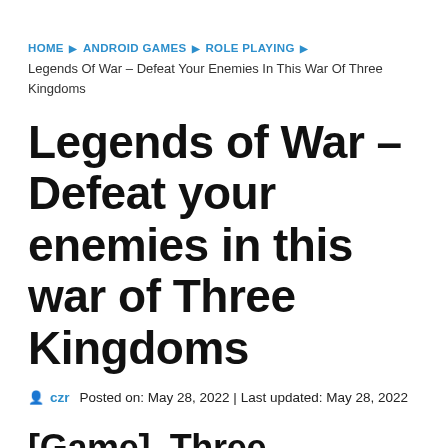HOME ▶ ANDROID GAMES ▶ ROLE PLAYING ▶
Legends Of War – Defeat Your Enemies In This War Of Three Kingdoms
Legends of War – Defeat your enemies in this war of Three Kingdoms
czr   Posted on: May 28, 2022 | Last updated: May 28, 2022
[Game]  Three Kingdoms – Legends of War